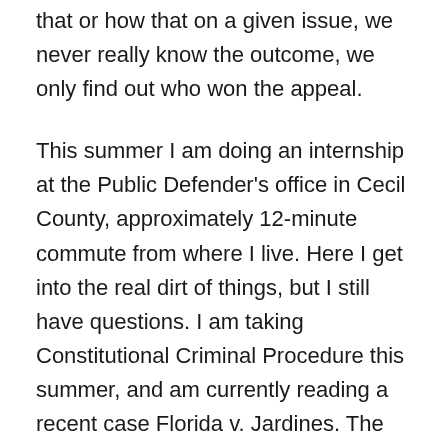that or how that on a given issue, we never really know the outcome, we only find out who won the appeal.
This summer I am doing an internship at the Public Defender's office in Cecil County, approximately 12-minute commute from where I live. Here I get into the real dirt of things, but I still have questions. I am taking Constitutional Criminal Procedure this summer, and am currently reading a recent case Florida v. Jardines. The court upheld that a search of the premises was in violation of the 4th amendment, so it gets suppressed. The case involves a guy who was allegedly growing and trafficking marijuana. I presume that the plants in question were confiscated, and I can assume that other processed product and cash was also confiscated. His lawyers motioned for suppression of the evidence, eventually won, and SCOTUS upheld the decision. So